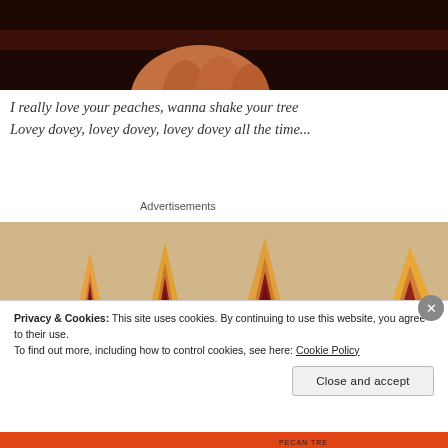[Figure (photo): Dark reddish-brown background with a hand/fingers visible at bottom, appearing to hold something]
I really love your peaches, wanna shake your tree
Lovey dovey, lovey dovey, lovey dovey all the time...
Advertisements
[Figure (photo): Close-up photo of sliced peaches showing red/orange flesh and pits on a light surface]
Privacy & Cookies: This site uses cookies. By continuing to use this website, you agree to their use.
To find out more, including how to control cookies, see here: Cookie Policy
Close and accept